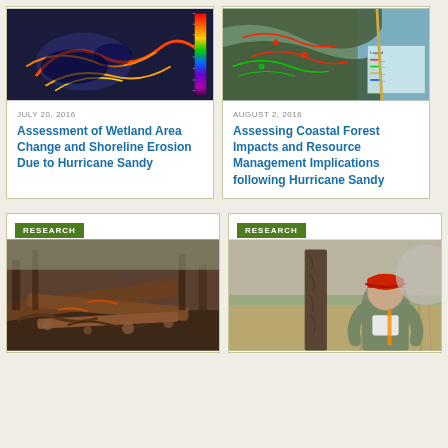[Figure (map): Thermal/spectral map showing coastal wetland area with color gradient scale bar on right side]
JULY 20, 2016
Assessment of Wetland Area Change and Shoreline Erosion Due to Hurricane Sandy
[Figure (map): Satellite/aerial map of coastal forest area with red and green overlay markings and legend box]
AUGUST 2, 2016
Assessing Coastal Forest Impacts and Resource Management Implications following Hurricane Sandy
RESEARCH
[Figure (photo): Ground-level photo showing fallen trees and debris on forest floor]
RESEARCH
[Figure (photo): Photo of researcher in camouflage jacket and red cap standing next to a tree trunk in a field]